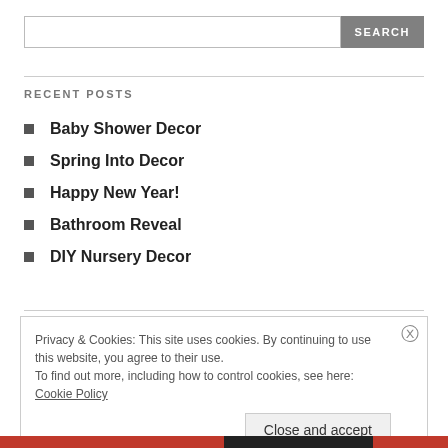SEARCH
RECENT POSTS
Baby Shower Decor
Spring Into Decor
Happy New Year!
Bathroom Reveal
DIY Nursery Decor
Privacy & Cookies: This site uses cookies. By continuing to use this website, you agree to their use.
To find out more, including how to control cookies, see here: Cookie Policy
Close and accept